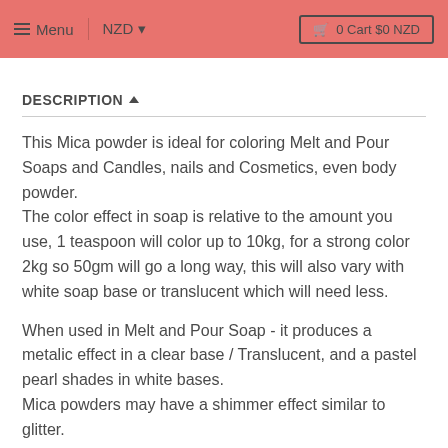Menu  NZD  0 Cart $0 NZD
DESCRIPTION
This Mica powder is ideal for coloring Melt and Pour Soaps and Candles, nails and Cosmetics, even body powder.
The color effect in soap is relative to the amount you use, 1 teaspoon will color up to 10kg, for a strong color 2kg so 50gm will go a long way, this will also vary with white soap base or translucent which will need less.
When used in Melt and Pour Soap - it produces a metalic effect in a clear base / Translucent, and a pastel pearl shades in white bases.
Mica powders may have a shimmer effect similar to glitter.